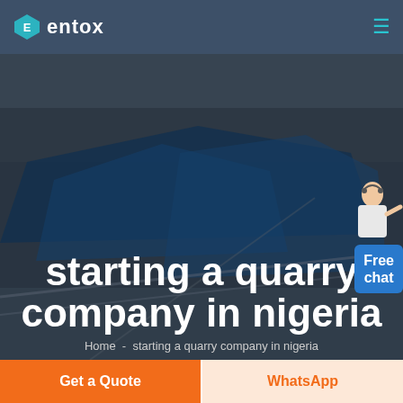entox
[Figure (screenshot): Aerial photo of industrial facility with blue rooftops used as hero background image]
starting a quarry company in nigeria
Home  -  starting a quarry company in nigeria
[Figure (illustration): Customer service representative figure with Free chat speech bubble widget in top right of hero]
Get a Quote
WhatsApp